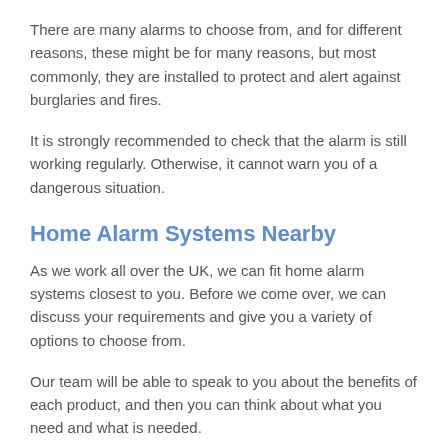There are many alarms to choose from, and for different reasons, these might be for many reasons, but most commonly, they are installed to protect and alert against burglaries and fires.
It is strongly recommended to check that the alarm is still working regularly. Otherwise, it cannot warn you of a dangerous situation.
Home Alarm Systems Nearby
As we work all over the UK, we can fit home alarm systems closest to you. Before we come over, we can discuss your requirements and give you a variety of options to choose from.
Our team will be able to speak to you about the benefits of each product, and then you can think about what you need and what is needed.
As this is a crucial factor in many facilities, it is suggested to only use professionals. To check what the company you might use is like, you can do some background research.
This can include finding out how long they have been in the